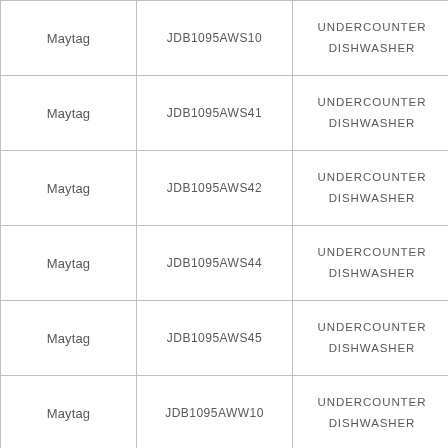| Maytag | JDB1095AWS10 | UNDERCOUNTER DISHWASHER |
| Maytag | JDB1095AWS41 | UNDERCOUNTER DISHWASHER |
| Maytag | JDB1095AWS42 | UNDERCOUNTER DISHWASHER |
| Maytag | JDB1095AWS44 | UNDERCOUNTER DISHWASHER |
| Maytag | JDB1095AWS45 | UNDERCOUNTER DISHWASHER |
| Maytag | JDB1095AWW10 | UNDERCOUNTER DISHWASHER |